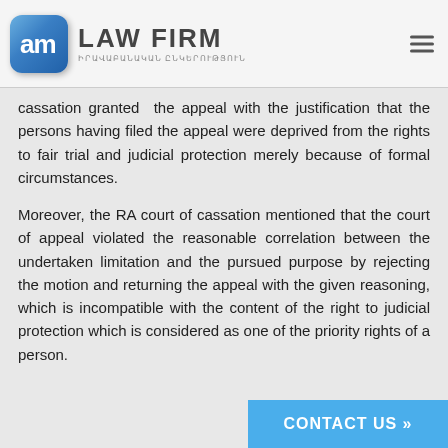AM LAW FIRM - ԻՐԱՎԱԲԱՆԱԿԱՆ ԸՆԿԵՐՈՒԹՅՈՒՆ
cassation granted the appeal with the justification that the persons having filed the appeal were deprived from the rights to fair trial and judicial protection merely because of formal circumstances.
Moreover, the RA court of cassation mentioned that the court of appeal violated the reasonable correlation between the undertaken limitation and the pursued purpose by rejecting the motion and returning the appeal with the given reasoning, which is incompatible with the content of the right to judicial protection which is considered as one of the priority rights of a person.
CONTACT US »